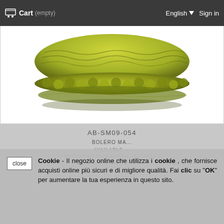Cart (empty)   English   Sign in
[Figure (photo): Folded olive/acid green knit bolero or shrug garment, shown from above on white background]
AB-SM09-054
BOLERO MA... (product title partial)
AVAILABLE ...
BE WORN BY DIFFEREN... NG SIZES
COLOR: ACID GREEN
Cookie - Il negozio online che utilizza i cookie , che fornisce acquisti online più sicuri e di migliore qualità. Fai clic su "OK" per aumentare la tua esperienza in questo sito.